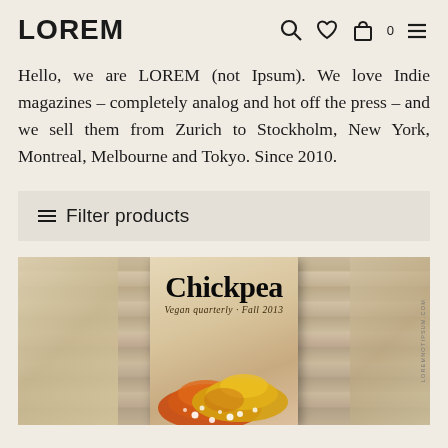LOREM
Hello, we are LOREM (not Ipsum). We love Indie magazines – completely analog and hot off the press – and we sell them from Zurich to Stockholm, New York, Montreal, Melbourne and Tokyo. Since 2010.
Filter products
[Figure (photo): Magazine cover for 'Chickpea – Vegan quarterly Fall 2013' displayed on a rustic wooden background with colorful spices scattered in front. Two additional copies of the magazine are partially visible on the left and right sides.]